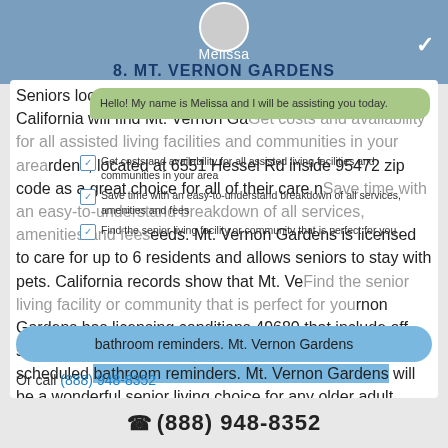Melissa
8. MT. VERNON GARDENS
[Figure (screenshot): Mobile app interface showing Melissa chat assistant with green chat bubble and checklist overlay]
Hello! My name is Melissa and I will be assisting you today.
Get costs and availability for all assisted living facilities and communities in your area
Save time with an easy-to-understand breakdown of all services, amenities and fees
Find the senior living facility or community that is perfect for you
Seniors looking for assisted senior living in Sebastopol, California will find Mt. Vernon Gardens, located at 6551 Hessel Rd inside 95472 zip code as a great choice for all of their care needs. Mt. Vernon Gardens is licensed to care for up to 6 residents and allows seniors to stay with pets. California records show that Mt. Vernon Gardens has licensing conditions 49680 that include off-site outings and picnics, medication assistance and scheduled bathroom reminders. Mt. Vernon Gardens will be a wonderful senior living choice for any older adult.
Or call (888) 948-8352
(888) 948-8352